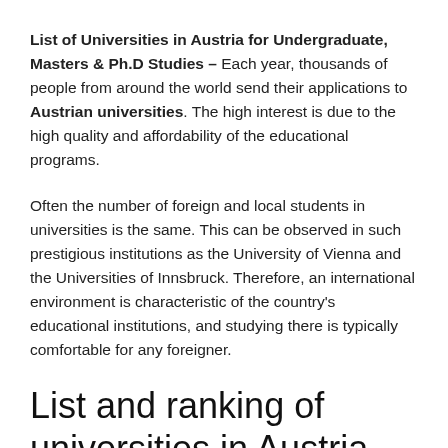List of Universities in Austria for Undergraduate, Masters & Ph.D Studies – Each year, thousands of people from around the world send their applications to Austrian universities. The high interest is due to the high quality and affordability of the educational programs.
Often the number of foreign and local students in universities is the same. This can be observed in such prestigious institutions as the University of Vienna and the Universities of Innsbruck. Therefore, an international environment is characteristic of the country's educational institutions, and studying there is typically comfortable for any foreigner.
List and ranking of universities in Austria